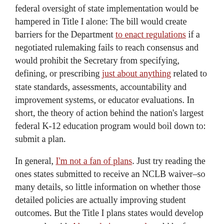federal oversight of state implementation would be hampered in Title I alone: The bill would create barriers for the Department to enact regulations if a negotiated rulemaking fails to reach consensus and would prohibit the Secretary from specifying, defining, or prescribing just about anything related to state standards, assessments, accountability and improvement systems, or educator evaluations. In short, the theory of action behind the nation's largest federal K-12 education program would boil down to: submit a plan.
In general, I'm not a fan of plans. Just try reading the ones states submitted to receive an NCLB waiver–so many details, so little information on whether those detailed policies are actually improving student outcomes. But the Title I plans states would develop to comply with Alexander's proposal could be far worse, lacking both detailed narrative and actual evidence to prove states meet key requirements.